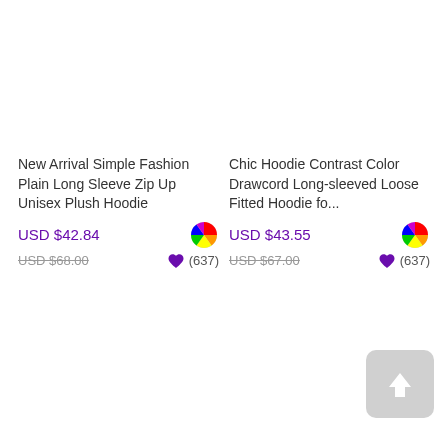New Arrival Simple Fashion Plain Long Sleeve Zip Up Unisex Plush Hoodie
USD $42.84
USD $68.00
(637)
Chic Hoodie Contrast Color Drawcord Long-sleeved Loose Fitted Hoodie fo...
USD $43.55
USD $67.00
(637)
[Figure (other): Scroll to top button with upward arrow icon]